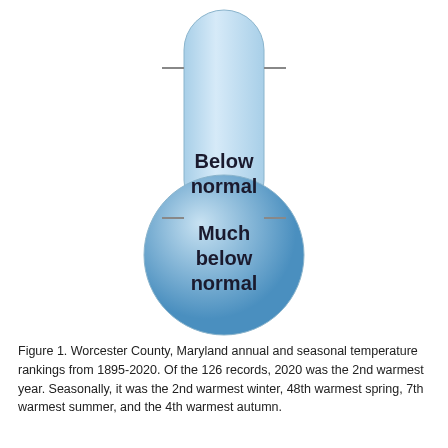[Figure (infographic): A thermometer-style diagram showing temperature ranking categories. The thermometer bulb at the bottom is labeled 'Much below normal' and the tube above is labeled 'Below normal'. Tick marks appear on both sides of the tube near the top and near the bulb junction.]
Figure 1. Worcester County, Maryland annual and seasonal temperature rankings from 1895-2020. Of the 126 records, 2020 was the 2nd warmest year. Seasonally, it was the 2nd warmest winter, 48th warmest spring, 7th warmest summer, and the 4th warmest autumn.